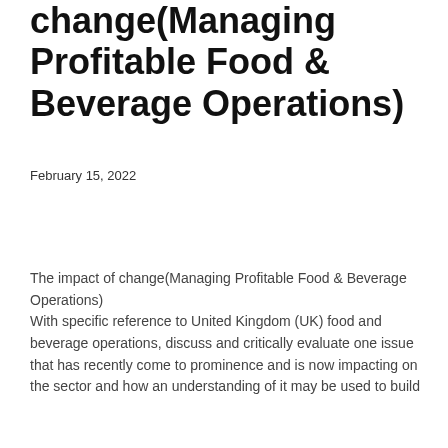change(Managing Profitable Food & Beverage Operations)
February 15, 2022
The impact of change(Managing Profitable Food & Beverage Operations)
With specific reference to United Kingdom (UK) food and beverage operations, discuss and critically evaluate one issue that has recently come to prominence and is now impacting on the sector and how an understanding of it may be used to build